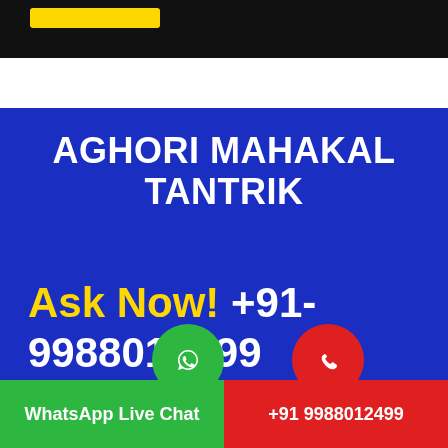[Figure (screenshot): Top black bar with yellow label/button area]
AGHORI MAHAKAL TANTRIK
Ask Now! +91-9988012499
[Figure (infographic): Green circle with WhatsApp icon and green bar labeled WhatsApp Live Chat; Red circle with phone icon and red bar labeled +91 9988012499]